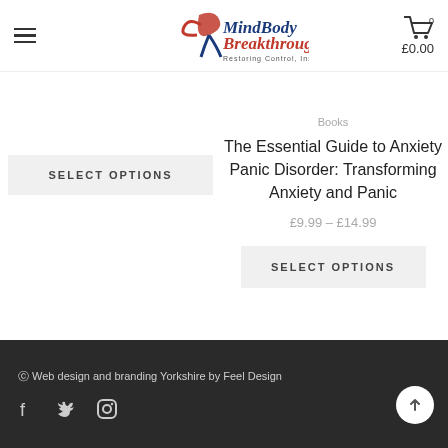[Figure (logo): MindBody Breakthrough logo with tagline 'Restoring Control, Inspiring Success']
[Figure (other): SELECT OPTIONS button on left side]
Books
The Essential Guide to Anxiety Panic Disorder: Transforming Anxiety and Panic
£9.99 – £14.99
[Figure (other): SELECT OPTIONS button on right side]
© Web design and branding Yorkshire by Feel Design